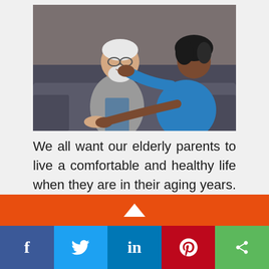[Figure (photo): An elderly man with glasses and white beard sitting on a couch smiling, while a young female healthcare worker in blue scrubs sits beside him with one hand on his shoulder and another holding his hand.]
We all want our elderly parents to live a comfortable and healthy life when they are in their aging years. As family
[Figure (other): Orange banner bar with white upward arrow triangle in the center]
[Figure (other): Social media share bar with Facebook (f), Twitter (bird), LinkedIn (in), Pinterest (P), and Share icons]